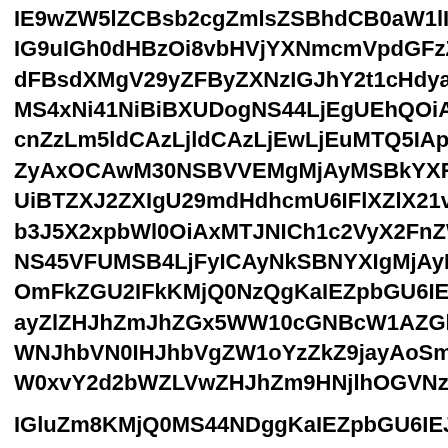IE9wZW5lZCBsb2cgZmlsZSBhdCB0aW1lIOiBXZWQs IG9uIGh0dHBzOi8vbHVjYXNmcmVpdGFzZzclb3Rl dFBsdXMgV29yZFByZXNzIGJoY2t1cHdyaXRlIG5h MS4xNi41NiBiBXUDogNS44LjEgUEhQOiA3LjQuMjMg cnZzLm5ldCAzLjldCAzLjEwLjEuMTQ5IApMdUNhNjE ZyAxOCAwM30NSBVVEMgMjAyMSBkYXRhOiBuNZfMS UiBTZXJ2ZXIgU09mdHdhcmU6IFlXZlX21vZGU2IDA e b3J5X2xpbWl0OiAxMTJNC h1c2VyX2FnZW50OiBN NS45VFUMSB4LjFyICAyNkSBNYXIgMjAyMSBkYXRh OmFkZGU2IFkKMjQ0NzQgKaIEZpbGU6IE1hcmNoID ayZlZHJhZmJhZGx5WW10cGNBcW0AZGlyZWN0b3J5OiA WNJhbVN0IHJhbVgZW1oYzZkZ9jayAoSmF5QWQE W0xvY2d2bWZLVwZHJhZm9HNjlhOGVNzQ1 IHJhc2VNdHJkZ2tLSUVKaFkyNjFjQ0J5dW40 CM0NWlyTCBtYVd4lX25vbU5QVGt5TW1E... emNNzN cyBhZ28pLCBqb2lgdHlwZSBhZT1iYWNrdXAMS QM45...